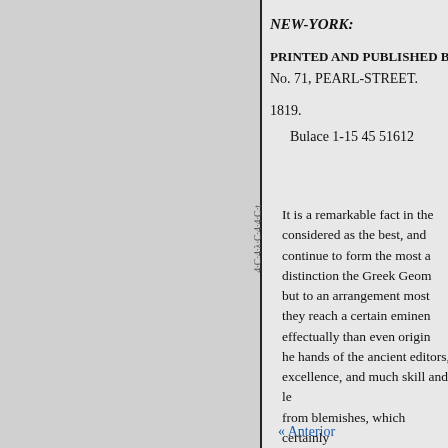NEW-YORK:
PRINTED AND PUBLISHED B
No. 71, PEARL-STREET.
1819.
Bulace 1-15 45 51612
It is a remarkable fact in the considered as the best, and continue to form the most a distinction the Greek Geom but to an arrangement most they reach a certain eminen effectually than even origin the hands of the ancient editors, excellence, and much skill and le from blemishes, which certainly
« Anterior